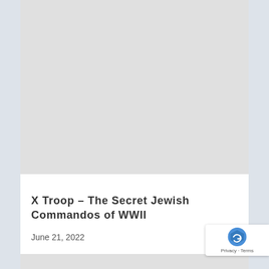[Figure (photo): Large image placeholder at the top of a content card, light gray background]
X Troop – The Secret Jewish Commandos of WWII
June 21, 2022
[Figure (photo): Second image placeholder at the bottom of the card, light gray background, partially visible]